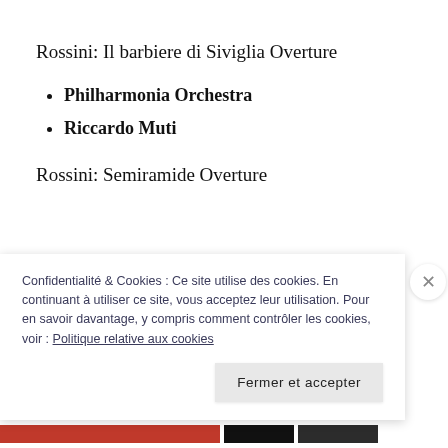Rossini: Il barbiere di Siviglia Overture
Philharmonia Orchestra
Riccardo Muti
Rossini: Semiramide Overture
Philharmonia Orchestra
Confidentialité & Cookies : Ce site utilise des cookies. En continuant à utiliser ce site, vous acceptez leur utilisation. Pour en savoir davantage, y compris comment contrôler les cookies, voir : Politique relative aux cookies
Fermer et accepter